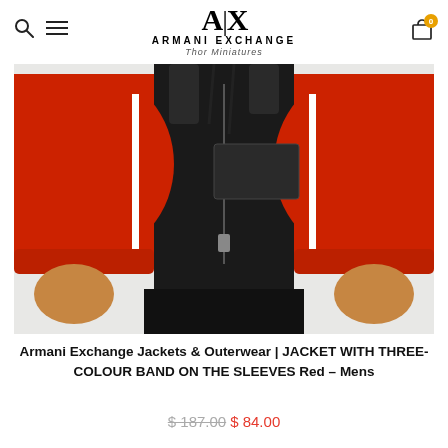A|X ARMANI EXCHANGE Thor Miniatures
[Figure (photo): Product photo of a man wearing a red, black and white Armani Exchange jacket with three-colour band on sleeves, shown from chest down to thighs.]
Armani Exchange Jackets & Outerwear | JACKET WITH THREE-COLOUR BAND ON THE SLEEVES Red – Mens
$187.00 $84.00